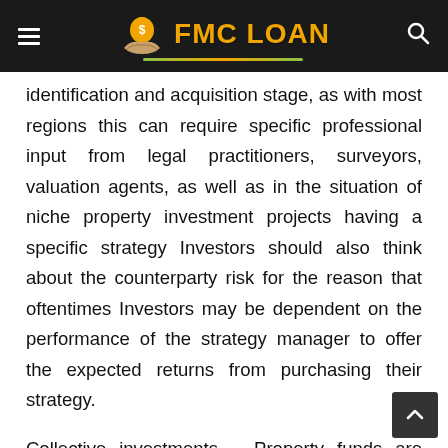FMC LOAN
identification and acquisition stage, as with most regions this can require specific professional input from legal practitioners, surveyors, valuation agents, as well as in the situation of niche property investment projects having a specific strategy Investors should also think about the counterparty risk for the reason that oftentimes Investors may be dependent on the performance of the strategy manager to offer the expected returns from purchasing their strategy.
Collective investments – Property funds are available in all sizes and shapes, and almost always involve a Fund Manager obtaining a gift basket of qualities using the fund's investment strategy, and managing individual assets with respect to Investors within the fund. You will find funds, both controlled and unregulated, that